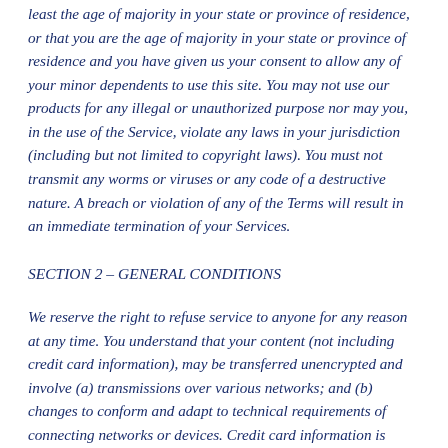least the age of majority in your state or province of residence, or that you are the age of majority in your state or province of residence and you have given us your consent to allow any of your minor dependents to use this site. You may not use our products for any illegal or unauthorized purpose nor may you, in the use of the Service, violate any laws in your jurisdiction (including but not limited to copyright laws). You must not transmit any worms or viruses or any code of a destructive nature. A breach or violation of any of the Terms will result in an immediate termination of your Services.
SECTION 2 – GENERAL CONDITIONS
We reserve the right to refuse service to anyone for any reason at any time. You understand that your content (not including credit card information), may be transferred unencrypted and involve (a) transmissions over various networks; and (b) changes to conform and adapt to technical requirements of connecting networks or devices. Credit card information is always encrypted during transfer